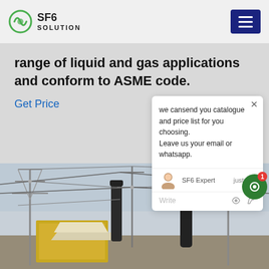SF6 SOLUTION
range of liquid and gas applications and conform to ASME code.
Get Price
we cansend you catalogue and price list for you choosing. Leave us your email or whatsapp.
SF6 Expert   justnow
Write
[Figure (photo): Electrical substation with high-voltage transmission lines, equipment and a yellow transformer or service vehicle in the foreground.]